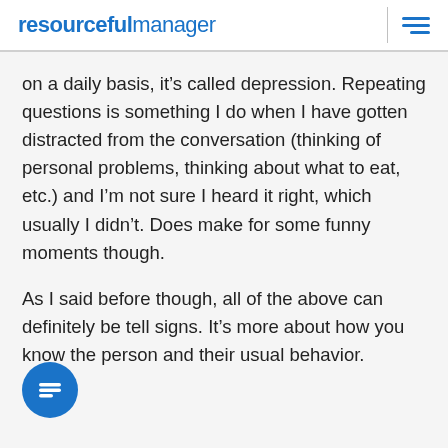resourcefulmanager
on a daily basis, it’s called depression. Repeating questions is something I do when I have gotten distracted from the conversation (thinking of personal problems, thinking about what to eat, etc.) and I’m not sure I heard it right, which usually I didn’t. Does make for some funny moments though.
As I said before though, all of the above can definitely be tell signs. It’s more about how you know the person and their usual behavior.